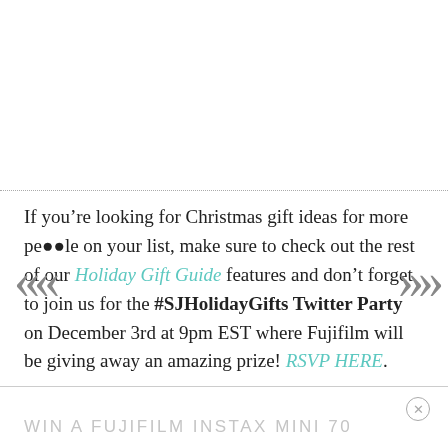If you're looking for Christmas gift ideas for more people on your list, make sure to check out the rest of our Holiday Gift Guide features and don't forget to join us for the #SJHolidayGifts Twitter Party on December 3rd at 9pm EST where Fujifilm will be giving away an amazing prize! RSVP HERE.
WIN A FUJIFILM INSTAX MINI 70